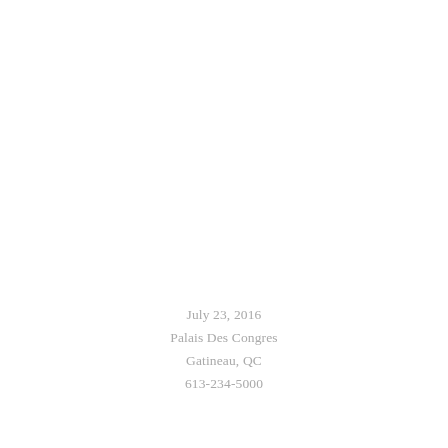July 23, 2016
Palais Des Congres
Gatineau, QC
613-234-5000